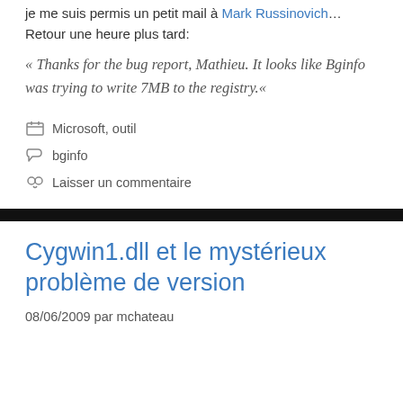je me suis permis un petit mail à Mark Russinovich…Retour une heure plus tard:
« Thanks for the bug report, Mathieu. It looks like Bginfo was trying to write 7MB to the registry.«
Microsoft, outil
bginfo
Laisser un commentaire
Cygwin1.dll et le mystérieux problème de version
08/06/2009 par mchateau